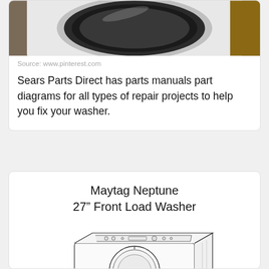[Figure (photo): Close-up photo of a front-load washing machine drum opening, showing white door ring and black rubber gasket, dark drum interior visible]
Source: www.pinterest.com
Sears Parts Direct has parts manuals part diagrams for all types of repair projects to help you fix your washer.
Maytag Neptune 27" Front Load Washer
[Figure (illustration): Line drawing / schematic illustration of a Maytag Neptune 27-inch front load washer, showing the appliance in 3/4 perspective with control panel on top and circular door on front]